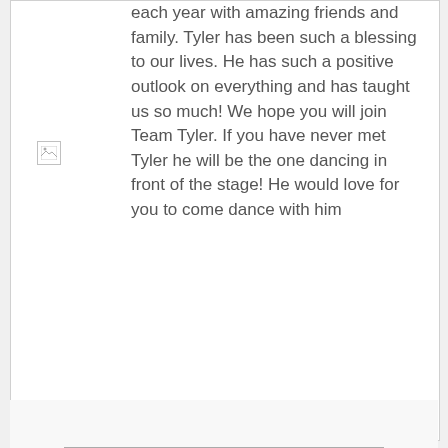each year with amazing friends and family. Tyler has been such a blessing to our lives. He has such a positive outlook on everything and has taught us so much! We hope you will join Team Tyler. If you have never met Tyler he will be the one dancing in front of the stage! He would love for you to come dance with him
[Figure (photo): Broken/missing image placeholder icon]